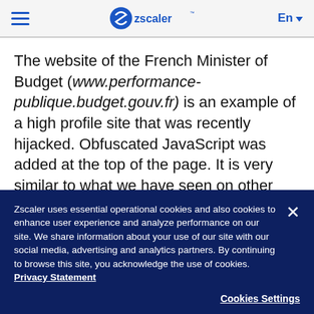Zscaler — En
The website of the French Minister of Budget (www.performance-publique.budget.gouv.fr) is an example of a high profile site that was recently hijacked. Obfuscated JavaScript was added at the top of the page. It is very similar to what we have seen on other websites. The obfuscation contains some tricks to break JavaScript scanning tools, such as making reference to browser objects,
Zscaler uses essential operational cookies and also cookies to enhance user experience and analyze performance on our site. We share information about your use of our site with our social media, advertising and analytics partners. By continuing to browse this site, you acknowledge the use of cookies. Privacy Statement
Cookies Settings